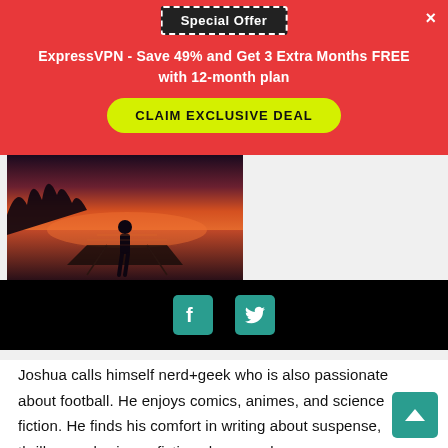Special Offer
ExpressVPN - Save 49% and Get 3 Extra Months FREE with 12-month plan
CLAIM EXCLUSIVE DEAL
[Figure (photo): Person standing on a boat at sunset, silhouetted against an orange/pink sky over water with trees on the horizon]
[Figure (other): Social media icon bar with Facebook and Twitter icons on black background]
Joshua calls himself nerd+geek who is also passionate about football. He enjoys comics, animes, and science fiction. He finds his comfort in writing about suspense, thrillers and science fiction shows and